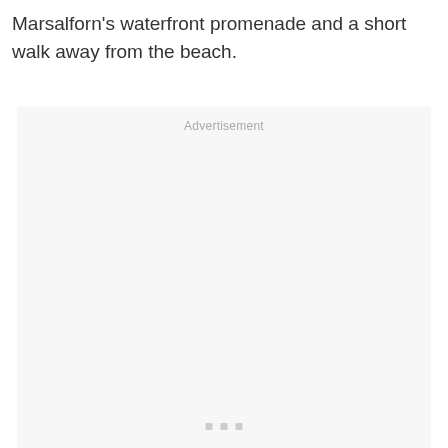Marsalforn's waterfront promenade and a short walk away from the beach.
[Figure (other): Advertisement placeholder box with 'Advertisement' label and three small dots centered near middle of box]